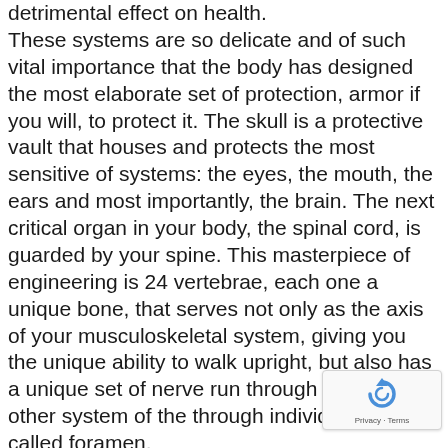detrimental effect on health. These systems are so delicate and of such vital importance that the body has designed the most elaborate set of protection, armor if you will, to protect it. The skull is a protective vault that houses and protects the most sensitive of systems: the eyes, the mouth, the ears and most importantly, the brain. The next critical organ in your body, the spinal cord, is guarded by your spine. This masterpiece of engineering is 24 vertebrae, each one a unique bone, that serves not only as the axis of your musculoskeletal system, giving you the unique ability to walk upright, but also has a unique set of nerve run through it to every other system of the through individual holes called foramen.
[Figure (other): reCAPTCHA badge widget with circular arrow icon and Privacy/Terms text]